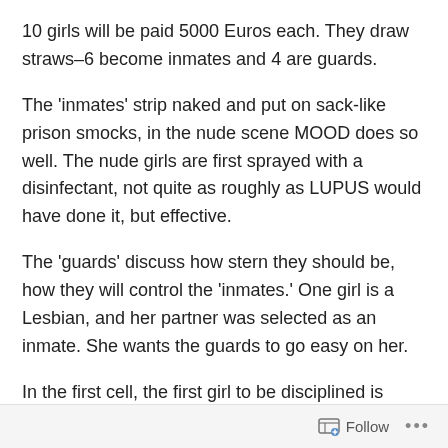10 girls will be paid 5000 Euros each. They draw straws–6 become inmates and 4 are guards.
The 'inmates' strip naked and put on sack-like prison smocks, in the nude scene MOOD does so well. The nude girls are first sprayed with a disinfectant, not quite as roughly as LUPUS would have done it, but effective.
The 'guards' discuss how stern they should be, how they will control the 'inmates.' One girl is a Lesbian, and her partner was selected as an inmate. She wants the guards to go easy on her.
In the first cell, the first girl to be disciplined is made to strip and is manacled standing to a bunk bed. She gets 25 with the belt, and we see for the first time the wicked lust
Follow  •••